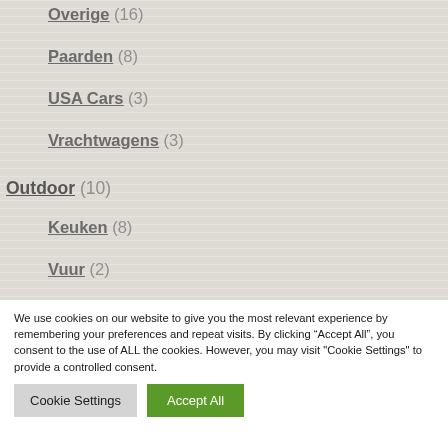Overige (16)
Paarden (8)
USA Cars (3)
Vrachtwagens (3)
Outdoor (10)
Keuken (8)
Vuur (2)
Legerdump (198)
Airsoft (30)
Army Paint (12)
We use cookies on our website to give you the most relevant experience by remembering your preferences and repeat visits. By clicking “Accept All”, you consent to the use of ALL the cookies. However, you may visit "Cookie Settings" to provide a controlled consent.
Cookie Settings | Accept All